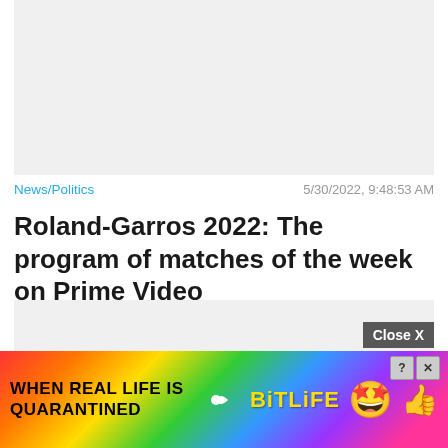[Figure (other): Gray placeholder image area at top of article]
News/Politics
5/30/2022, 9:48:53 AM
Roland-Garros 2022: The program of matches of the week on Prime Video
[Figure (other): Gray placeholder image area below article title]
Close X
[Figure (infographic): BitLife advertisement banner with rainbow background, text 'WHEN REAL LIFE IS QUARANTINED' and BitLife logo with emoji characters]